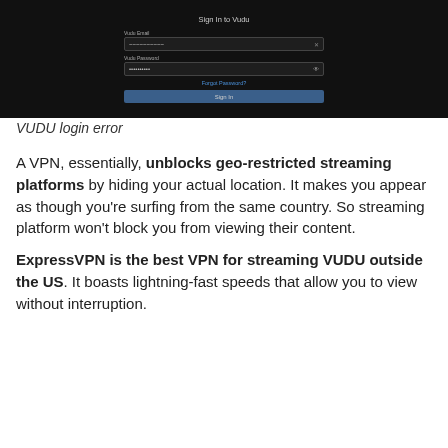[Figure (screenshot): VUDU Sign In login screen with email and password fields on a dark background]
VUDU login error
A VPN, essentially, unblocks geo-restricted streaming platforms by hiding your actual location. It makes you appear as though you're surfing from the same country. So streaming platform won't block you from viewing their content.
ExpressVPN is the best VPN for streaming VUDU outside the US. It boasts lightning-fast speeds that allow you to view without interruption.